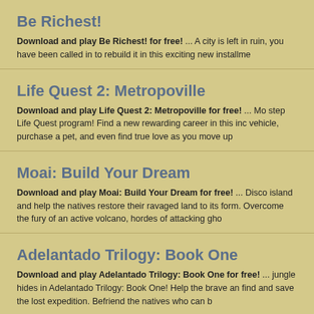Be Richest!
Download and play Be Richest! for free! ... A city is left in ruin, you have been called in to rebuild it in this exciting new installme
Life Quest 2: Metropoville
Download and play Life Quest 2: Metropoville for free! ... Mo step Life Quest program! Find a new rewarding career in this inc vehicle, purchase a pet, and even find true love as you move up
Moai: Build Your Dream
Download and play Moai: Build Your Dream for free! ... Disco island and help the natives restore their ravaged land to its form. Overcome the fury of an active volcano, hordes of attacking gho
Adelantado Trilogy: Book One
Download and play Adelantado Trilogy: Book One for free! ... jungle hides in Adelantado Trilogy: Book One! Help the brave an find and save the lost expedition. Befriend the natives who can b